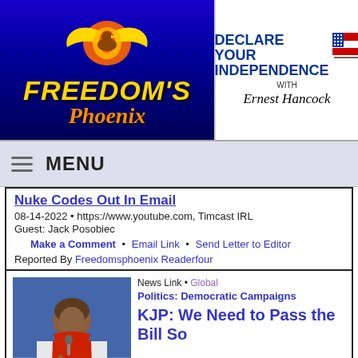[Figure (logo): Freedom's Phoenix logo with phoenix bird and blue/gold text on dark blue background]
[Figure (logo): Declare Your Independence with Ernest Hancock logo]
MENU
Nuke Codes Out In Email
08-14-2022 • https://www.youtube.com, Timcast IRL
Guest: Jack Posobiec
Make a Comment • Email Link • Send Letter to Editor
Reported By Freedomsphoenix Readerfour
[Figure (photo): Woman in red dress at podium speaking]
News Link • Global
Politics: Democratic Campaigns
KJP: We Need to Pass the Bill So You Can Find Out How It Works